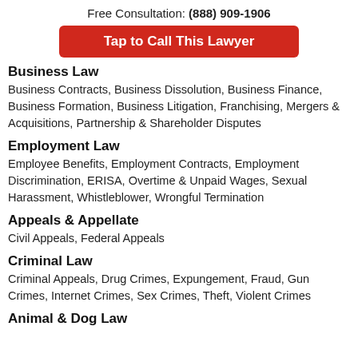Free Consultation: (888) 909-1906
Tap to Call This Lawyer
Business Law
Business Contracts, Business Dissolution, Business Finance, Business Formation, Business Litigation, Franchising, Mergers & Acquisitions, Partnership & Shareholder Disputes
Employment Law
Employee Benefits, Employment Contracts, Employment Discrimination, ERISA, Overtime & Unpaid Wages, Sexual Harassment, Whistleblower, Wrongful Termination
Appeals & Appellate
Civil Appeals, Federal Appeals
Criminal Law
Criminal Appeals, Drug Crimes, Expungement, Fraud, Gun Crimes, Internet Crimes, Sex Crimes, Theft, Violent Crimes
Animal & Dog Law